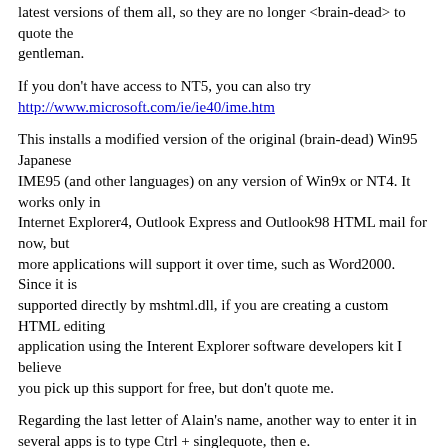latest versions of them all, so they are no longer <brain-dead> to quote the gentleman.
If you don't have access to NT5, you can also try http://www.microsoft.com/ie/ie40/ime.htm
This installs a modified version of the original (brain-dead) Win95 Japanese IME95 (and other languages) on any version of Win9x or NT4. It works only in Internet Explorer4, Outlook Express and Outlook98 HTML mail for now, but more applications will support it over time, such as Word2000. Since it is supported directly by mshtml.dll, if you are creating a custom HTML editing application using the Interent Explorer software developers kit I believe you pick up this support for free, but don't quote me.
Regarding the last letter of Alain's name, another way to enter it in several apps is to type Ctrl + singlequote, then e.
You can use AutoCorrect in any Office app and AutoText in Word to do what